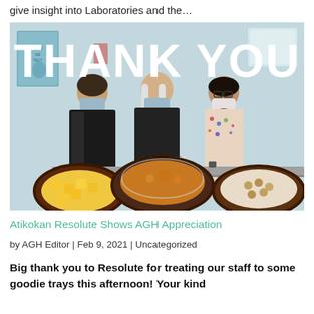give insight into Laboratories and the…
[Figure (photo): Three people wearing face masks standing behind a table with food trays. Large white 'THANK YOU' text overlaid on top of the photo.]
Atikokan Resolute Shows AGH Appreciation
by AGH Editor | Feb 9, 2021 | Uncategorized
Big thank you to Resolute for treating our staff to some goodie trays this afternoon! Your kind